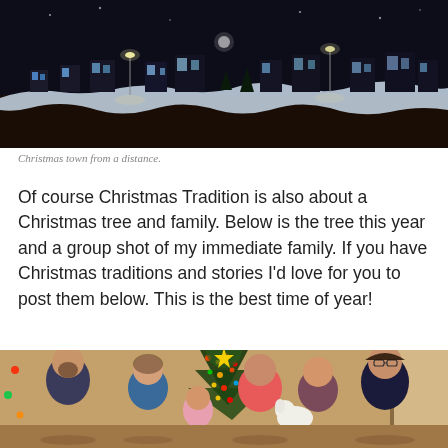[Figure (photo): Nighttime photo of a Christmas village/town scene from a distance, with snow and twinkling lights against a dark sky]
Christmas town from a distance.
Of course Christmas Tradition is also about a Christmas tree and family. Below is the tree this year and a group shot of my immediate family. If you have Christmas traditions and stories I'd love for you to post them below. This is the best time of year!
[Figure (photo): Group photo of a family (5 people) standing in front of a decorated Christmas tree indoors, one person holding a dog]